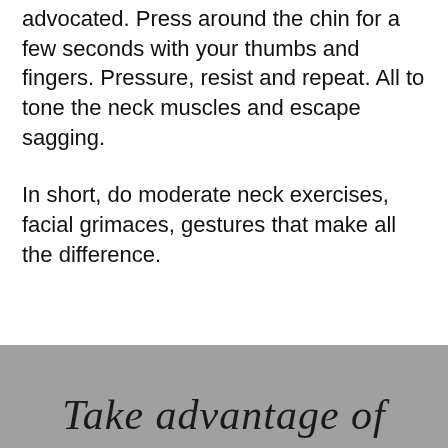advocated. Press around the chin for a few seconds with your thumbs and fingers. Pressure, resist and repeat. All to tone the neck muscles and escape sagging.
In short, do moderate neck exercises, facial grimaces, gestures that make all the difference.
Take advantage of